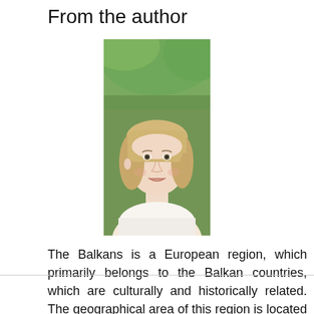From the author
[Figure (photo): Headshot of a young blonde woman with a bob haircut, smiling, outdoors with green foliage background]
The Balkans is a European region, which primarily belongs to the Balkan countries, which are culturally and historically related. The geographical area of this region is located mainly on the Balkan Peninsula. The Balkan Peninsula, the easternmost of the three large southern European peninsulas ... More in the blog.